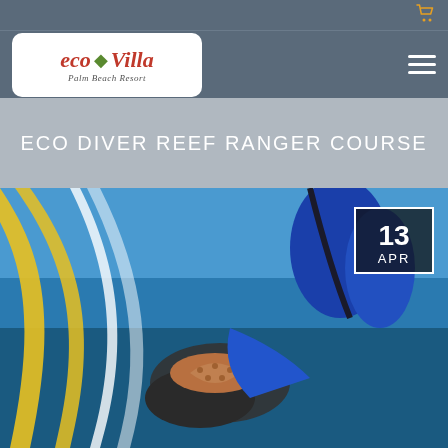Eco Villa Palm Beach Resort — navigation header with cart icon and hamburger menu
ECO DIVER REEF RANGER COURSE
[Figure (photo): Underwater photo showing a diver in blue wetsuit holding coral or a starfish with gloved hands, with yellow and white swoosh design elements overlaid on the left side. A date badge showing '13 APR' is in the upper right corner.]